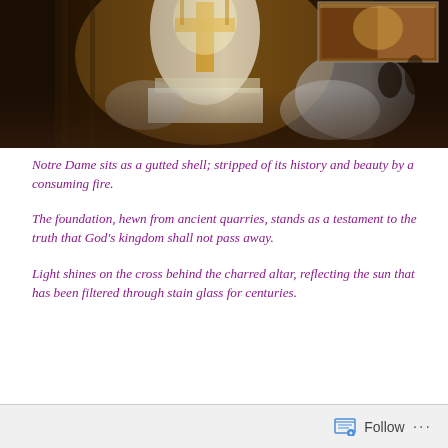[Figure (photo): Interior of Notre Dame Cathedral after fire — a golden cross glows above the charred altar against a dramatic light, with smoke and haze visible. A smaller inset photo appears in the upper right corner showing warm interior tones.]
Notre Dame sits as a gutted shell; stripped of its history and beauty by a consuming fire.
The foundation, hewn from ancient quarries, stands as a testament to the truth that God's kingdom shall not pass away.
Light shines on the cross behind the charred altar, reflecting the sun that has been filtered through stain glass for centuries.
Follow ···